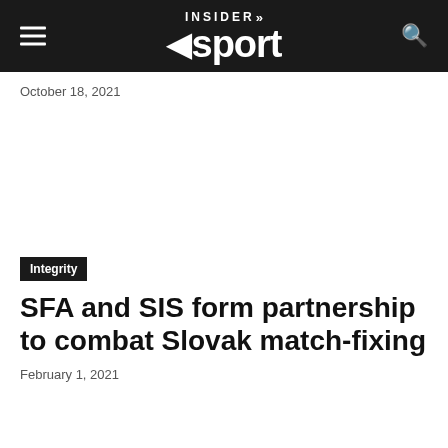INSIDER sport
October 18, 2021
Integrity
SFA and SIS form partnership to combat Slovak match-fixing
February 1, 2021